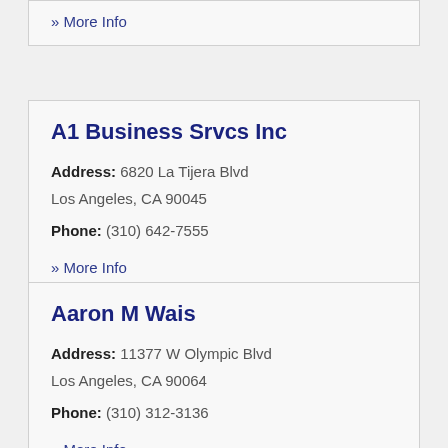» More Info
A1 Business Srvcs Inc
Address: 6820 La Tijera Blvd Los Angeles, CA 90045
Phone: (310) 642-7555
» More Info
Aaron M Wais
Address: 11377 W Olympic Blvd Los Angeles, CA 90064
Phone: (310) 312-3136
» More Info